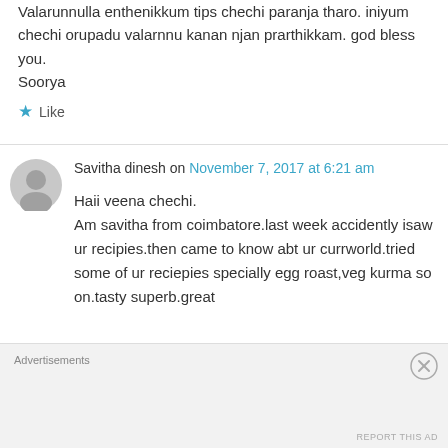Valarunnulla enthenikkum tips chechi paranja tharo. iniyum chechi orupadu valarnnu kanan njan prarthikkam. god bless you. Soorya
★ Like
Savitha dinesh on November 7, 2017 at 6:21 am
Haii veena chechi. Am savitha from coimbatore.last week accidently isaw ur recipies.then came to know abt ur currworld.tried some of ur reciepies specially egg roast,veg kurma so on.tasty superb.great
Advertisements